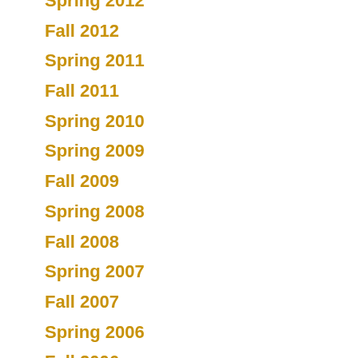Spring 2012
Fall 2012
Spring 2011
Fall 2011
Spring 2010
Spring 2009
Fall 2009
Spring 2008
Fall 2008
Spring 2007
Fall 2007
Spring 2006
Fall 2006
Spring 2005
Fall 2005